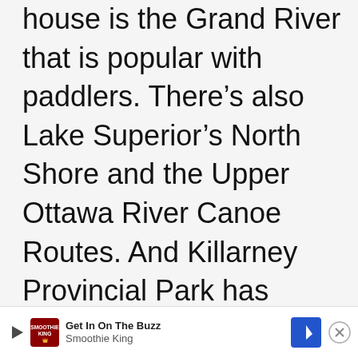house is the Grand River that is popular with paddlers. There's also Lake Superior's North Shore and the Upper Ottawa River Canoe Routes. And Killarney Provincial Park has several canoe routes to choose from.
Search for routes from one-day to multiday adventures and check to
[Figure (other): Advertisement banner for Smoothie King with play button icon, Smoothie King logo, text 'Get In On The Buzz / Smoothie King', a blue navigation arrow icon, and a close (X) button.]